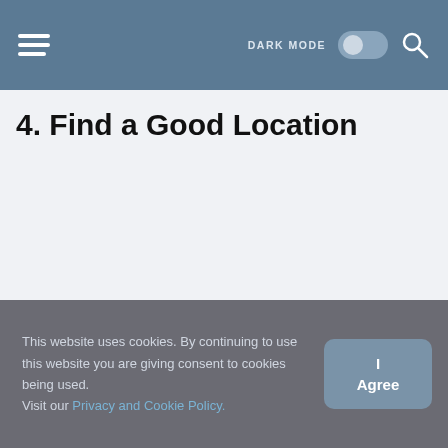DARK MODE [toggle] [search]
4. Find a Good Location
This website uses cookies. By continuing to use this website you are giving consent to cookies being used. Visit our Privacy and Cookie Policy.